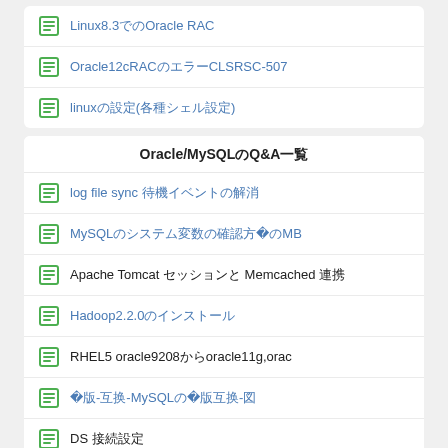Linux8.3でのOracle RAC
Oracle12cRACのエラーCLSRSC-507
linuxの設定(各種シェル設定)
Oracle/MySQLのQ&A一覧
log file sync 待機イベントの解消
MySQLのシステム変数の確認方法08のMB
Apache Tomcat セッションと Memcached 連携
Hadoop2.2.0のインストール
RHEL5 oracle9208からoracle11g,orac
図23版-互換-MySQLの図23版互換-図
DS 接続設定
HP-UXのシステムのパラメータ設定(N
注目Oracle/MySQLの質問一覧
OracleからOracleへの移行Oracle 19  5087回